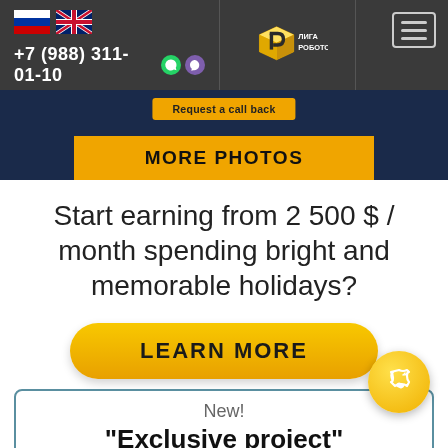[Figure (screenshot): Website header with Russian and UK flags, phone number +7 (988) 311-01-10, Liga Robotov logo in center, and hamburger menu icon on the right]
[Figure (screenshot): Dark blue banner with 'Request a call back' button and yellow 'MORE PHOTOS' button]
Start earning from 2 500 $ / month spending bright and memorable holidays?
[Figure (other): Yellow rounded 'LEARN MORE' button]
[Figure (other): Yellow circular phone/call button]
New!
"Exclusive project"